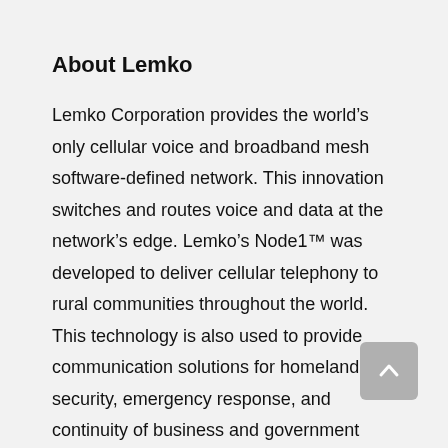About Lemko
Lemko Corporation provides the world’s only cellular voice and broadband mesh software-defined network. This innovation switches and routes voice and data at the network’s edge. Lemko’s Node1™ was developed to deliver cellular telephony to rural communities throughout the world. This technology is also used to provide communication solutions for homeland security, emergency response, and continuity of business and government operations. Lemko is headquartered in Schaumburg, Illinois.